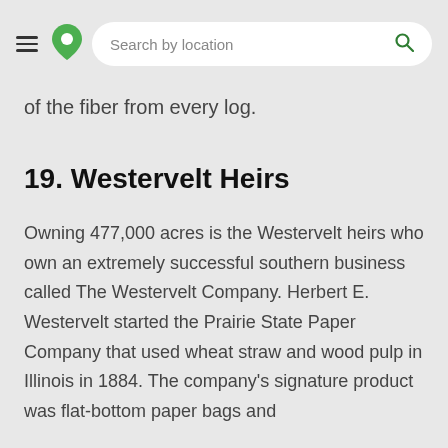Search by location
of the fiber from every log.
19. Westervelt Heirs
Owning 477,000 acres is the Westervelt heirs who own an extremely successful southern business called The Westervelt Company. Herbert E. Westervelt started the Prairie State Paper Company that used wheat straw and wood pulp in Illinois in 1884. The company's signature product was flat-bottom paper bags and